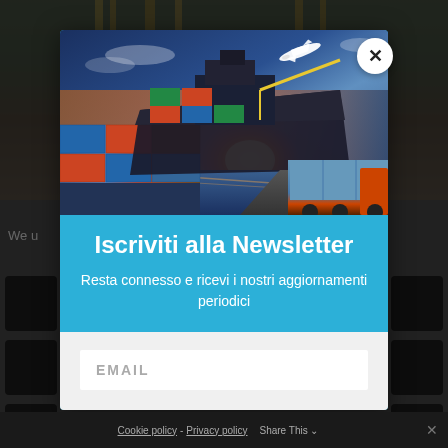[Figure (screenshot): Website screenshot showing a newsletter subscription modal popup over a logistics/shipping website background. The modal has a header image of a cargo ship, airplane, and shipping containers, with blue background containing Italian text 'Iscriviti alla Newsletter' and a subtitle, and a white form area with EMAIL input field. A close button (X) appears in the top-right corner of the modal.]
Iscriviti alla Newsletter
Resta connesso e ricevi i nostri aggiornamenti periodici
EMAIL
Cookie policy - Privacy policy   Share This   ×